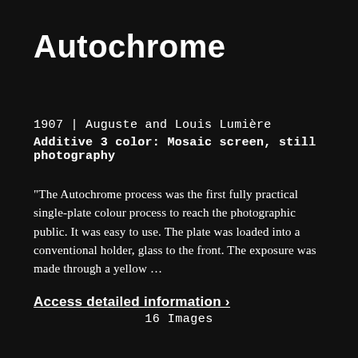Autochrome
1907 | Auguste and Louis Lumière
Additive 3 color: Mosaic screen, still photography
“The Autochrome process was the first fully practical single-plate colour process to reach the photographic public. It was easy to use. The plate was loaded into a conventional holder, glass to the front. The exposure was made through a yellow …
Access detailed information ›
16 Images